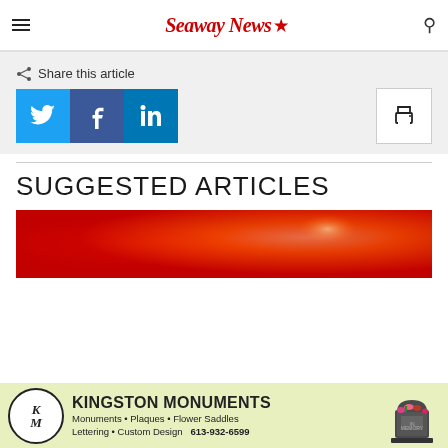Seaway News
Share this article
[Figure (screenshot): Social share buttons: Twitter (blue), Facebook (dark blue), LinkedIn (blue), and a print button (white with printer icon)]
SUGGESTED ARTICLES
[Figure (photo): Red/orange gradient background image, article thumbnail]
[Figure (illustration): Kingston Monuments advertisement banner with logo, text: Monuments, Plaques, Flower Saddles, Lettering, Custom Design, 613-932-6599, and a monument image]